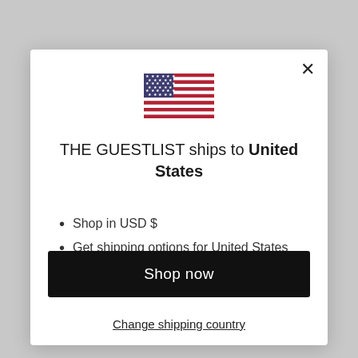[Figure (illustration): US flag emoji / icon]
THE GUESTLIST ships to United States
Shop in USD $
Get shipping options for United States
Shop now
Change shipping country